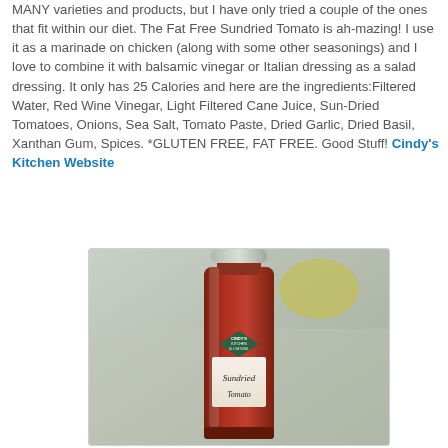MANY varieties and products, but I have only tried a couple of the ones that fit within our diet. The Fat Free Sundried Tomato is ah-mazing! I use it as a marinade on chicken (along with some other seasonings) and I love to combine it with balsamic vinegar or Italian dressing as a salad dressing. It only has 25 Calories and here are the ingredients:Filtered Water, Red Wine Vinegar, Light Filtered Cane Juice, Sun-Dried Tomatoes, Onions, Sea Salt, Tomato Paste, Dried Garlic, Dried Basil, Xanthan Gum, Spices. *GLUTEN FREE, FAT FREE. Good Stuff! Cindy's Kitchen Website
[Figure (photo): A glass bottle of Cindy's Kitchen All-Natural Sundried Tomato dressing/marinade with a red-brownish sauce inside, photographed on a kitchen counter]